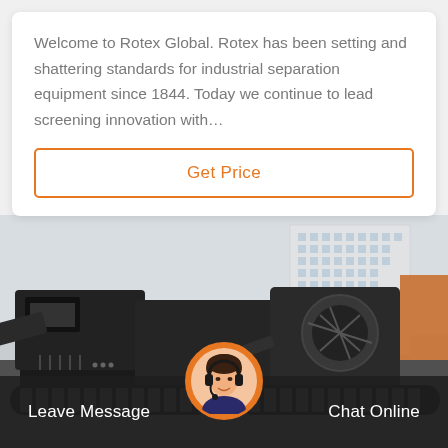Welcome to Rotex Global. Rotex has been setting and shattering standards for industrial separation equipment since 1844. Today we continue to lead screening innovation with…
Get Price
[Figure (photo): Large black industrial mobile crushing/screening machine on tracked undercarriage, photographed outdoors in front of a multi-story building. Customer support agent avatar with orange circle border at bottom center.]
Leave Message
Chat Online